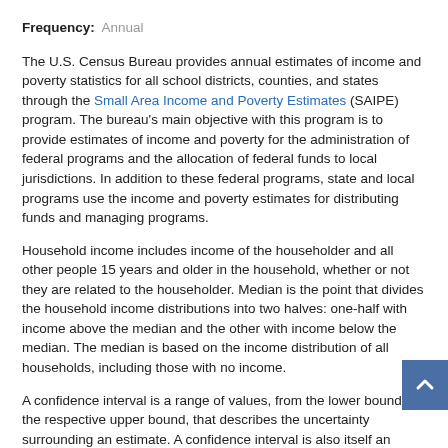Frequency: Annual
The U.S. Census Bureau provides annual estimates of income and poverty statistics for all school districts, counties, and states through the Small Area Income and Poverty Estimates (SAIPE) program. The bureau's main objective with this program is to provide estimates of income and poverty for the administration of federal programs and the allocation of federal funds to local jurisdictions. In addition to these federal programs, state and local programs use the income and poverty estimates for distributing funds and managing programs.
Household income includes income of the householder and all other people 15 years and older in the household, whether or not they are related to the householder. Median is the point that divides the household income distributions into two halves: one-half with income above the median and the other with income below the median. The median is based on the income distribution of all households, including those with no income.
A confidence interval is a range of values, from the lower bound to the respective upper bound, that describes the uncertainty surrounding an estimate. A confidence interval is also itself an estimate. It is made using a model of how sampling, interviewing, measuring, and modeling contribute to uncertainty about the relation between the true value of the quantity we are estimating and our estimate of that value. The "90%" in the confidence interval listed above represents a level of certainty about our estimate. If we were to repeatedly make new estimates using exactly the same procedure